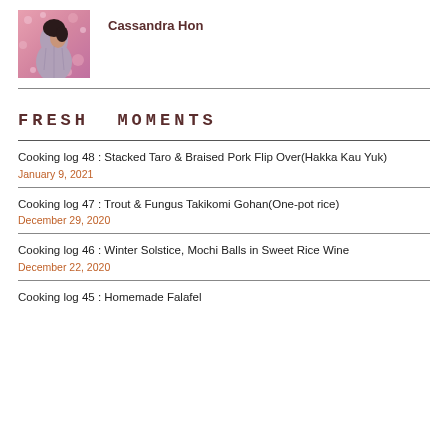[Figure (photo): Profile photo of Cassandra Hon, a person shown from behind/side angle in a pink bokeh background]
Cassandra Hon
FRESH MOMENTS
Cooking log 48 : Stacked Taro & Braised Pork Flip Over(Hakka Kau Yuk)
January 9, 2021
Cooking log 47 : Trout & Fungus Takikomi Gohan(One-pot rice)
December 29, 2020
Cooking log 46 : Winter Solstice, Mochi Balls in Sweet Rice Wine
December 22, 2020
Cooking log 45 : Homemade Falafel